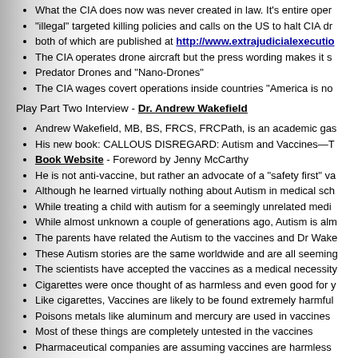What the CIA does now was never created in law. It's entire oper...
"illegal" targeted killing policies and calls on the US to halt CIA dr...
both of which are published at http://www.extrajudicialexecutio...
The CIA operates drone aircraft but the press wording makes it s...
Predator Drones and "Nano-Drones"
The CIA wages covert operations inside countries "America is no...
Play Part Two Interview - Dr. Andrew Wakefield
Andrew Wakefield, MB, BS, FRCS, FRCPath, is an academic gas...
His new book: CALLOUS DISREGARD: Autism and Vaccines—T...
Book Website - Foreword by Jenny McCarthy
He is not anti-vaccine, but rather an advocate of a "safety first" va...
Although he learned virtually nothing about Autism in medical sch...
While treating a child with autism for a seemingly unrelated medi...
While almost unknown a couple of generations ago, Autism is alm...
The parents have related the Autism to the vaccines and Dr Wake...
These Autism stories are the same worldwide and are all seeming...
The scientists have accepted the vaccines as a medical necessity...
Cigarettes were once thought of as harmless and even good for y...
Like cigarettes, Vaccines are likely to be found extremely harmful...
Poisons metals like aluminum and mercury are used in vaccines...
Most of these things are completely untested in the vaccines
Pharmaceutical companies are assuming vaccines are harmless...
...Instead of erring on the side of caution and testing to prove the...
The vaccines have no liability at all... no responsibility to the cons...
The benefits of vaccines rely on public confidence... one faulty va...
Those that run the regulations are controlled by those that manuf...
... There is no industry regulation because of this blatant conflict o...
Autism is "often" caused by vaccines. Here is information on thre...
Reports accuse WHO of exaggerating H1N1 threat, possible ties...